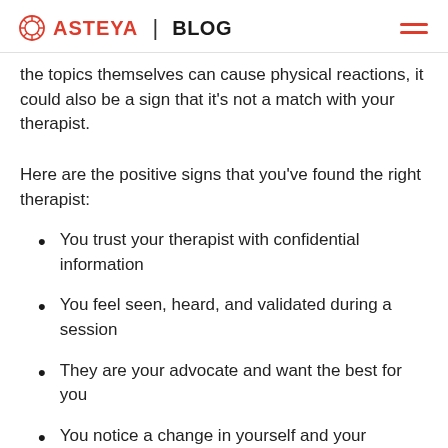ASTEYA | BLOG
the topics themselves can cause physical reactions, it could also be a sign that it’s not a match with your therapist.
Here are the positive signs that you’ve found the right therapist:
You trust your therapist with confidential information
You feel seen, heard, and validated during a session
They are your advocate and want the best for you
You notice a change in yourself and your behavior